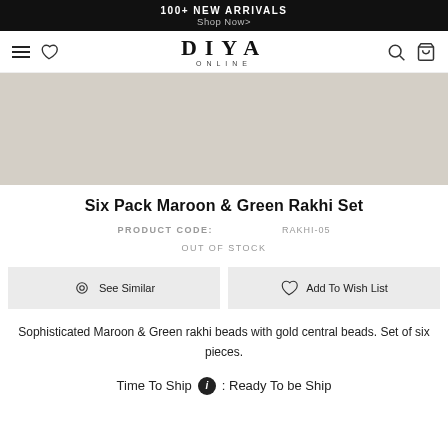100+ NEW ARRIVALS
Shop Now>
[Figure (logo): DIYA ONLINE logo with hamburger menu, heart icon on left, search and bag icons on right]
[Figure (photo): Product image area - light grey/beige background, product not visible]
Six Pack Maroon & Green Rakhi Set
PRODUCT CODE:  RAKHI-05
OUT OF STOCK
See Similar   Add To Wish List
Sophisticated Maroon & Green rakhi beads with gold central beads. Set of six pieces.
Time To Ship ⓘ : Ready To be Ship